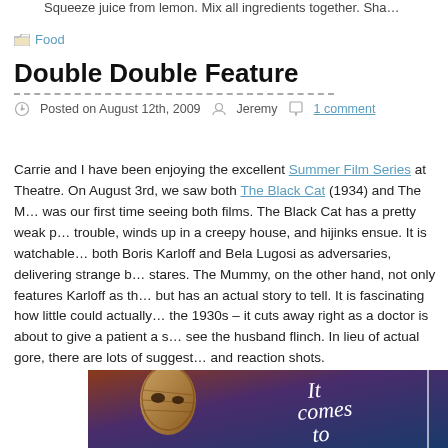Squeeze juice from lemon. Mix all ingredients together. Sha…
Food
Double Double Feature
Posted on August 12th, 2009   Jeremy   1 comment
Carrie and I have been enjoying the excellent Summer Film Series at Theatre. On August 3rd, we saw both The Black Cat (1934) and The M… was our first time seeing both films. The Black Cat has a pretty weak p… trouble, winds up in a creepy house, and hijinks ensue. It is watchable… both Boris Karloff and Bela Lugosi as adversaries, delivering strange b… stares. The Mummy, on the other hand, not only features Karloff as th… but has an actual story to tell. It is fascinating how little could actually… the 1930s – it cuts away right as a doctor is about to give a patient a s… see the husband flinch. In lieu of actual gore, there are lots of suggest… and reaction shots.
[Figure (photo): Movie poster or film still showing a mummy-like figure with text 'It comes to' visible on the right side]